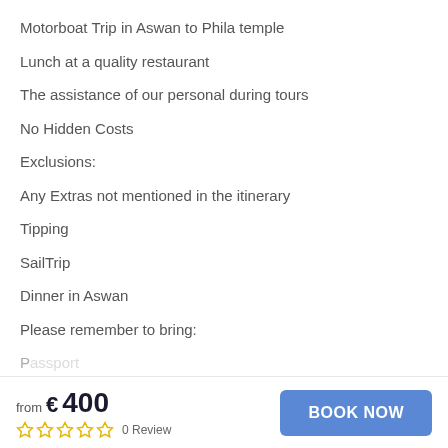Motorboat Trip in Aswan to Phila temple
Lunch at a quality restaurant
The assistance of our personal during tours
No Hidden Costs
Exclusions:
Any Extras not mentioned in the itinerary
Tipping
SailTrip
Dinner in Aswan
Please remember to bring:
from €400  0 Review  BOOK NOW